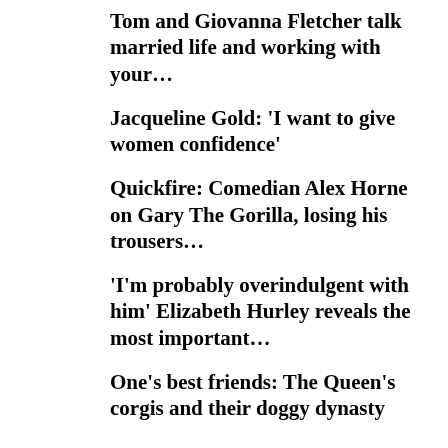Tom and Giovanna Fletcher talk married life and working with your...
Jacqueline Gold: 'I want to give women confidence'
Quickfire: Comedian Alex Horne on Gary The Gorilla, losing his trousers...
'I'm probably overindulgent with him' Elizabeth Hurley reveals the most important...
One's best friends: The Queen's corgis and their doggy dynasty